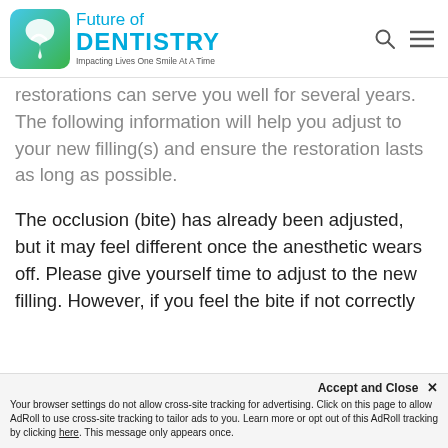Future of DENTISTRY — Impacting Lives One Smile At A Time
restorations can serve you well for several years. The following information will help you adjust to your new filling(s) and ensure the restoration lasts as long as possible.
The occlusion (bite) has already been adjusted, but it may feel different once the anesthetic wears off. Please give yourself time to adjust to the new filling. However, if you feel the bite if not correctly
Accept and Close ✕
Your browser settings do not allow cross-site tracking for advertising. Click on this page to allow AdRoll to use cross-site tracking to tailor ads to you. Learn more or opt out of this AdRoll tracking by clicking here. This message only appears once.